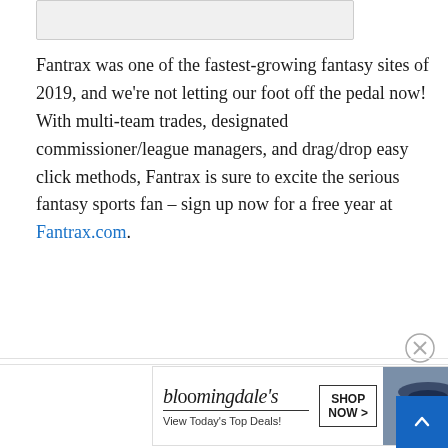[Figure (other): Gray placeholder image/banner at the top of the page]
Fantrax was one of the fastest-growing fantasy sites of 2019, and we're not letting our foot off the pedal now! With multi-team trades, designated commissioner/league managers, and drag/drop easy click methods, Fantrax is sure to excite the serious fantasy sports fan – sign up now for a free year at Fantrax.com.
[Figure (infographic): Share bar with Share button, Twitter button (blue), and Reddit button (orange-red)]
[Figure (infographic): Advertisement banner for Bloomingdale's with logo, tagline 'View Today's Top Deals!', model in hat image, and 'SHOP NOW >' button]
← PRE ... POST →
Prospects In A Shortened Season – American League
Fa... Previews: AFC